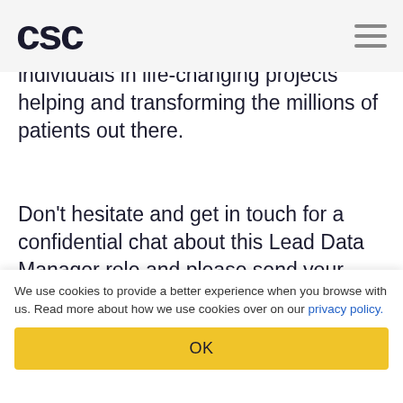CSC logo and navigation
individuals in life-changing projects helping and transforming the millions of patients out there.
Don't hesitate and get in touch for a confidential chat about this Lead Data Manager role and please send your updated CV to:
Catalin Zaharia
Principal Consultant - Biometrics
Data Management, Statistical Programming, Biostatistics
We use cookies to provide a better experience when you browse with us. Read more about how we use cookies over on our privacy policy.